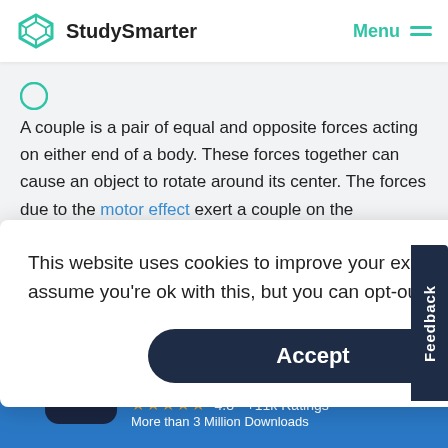StudySmarter   Menu
A couple is a pair of equal and opposite forces acting on either end of a body. These forces together can cause an object to rotate around its center. The forces due to the motor effect exert a couple on the
This website uses cookies to improve your experience. We'll assume you're ok with this, but you can opt-out if you wish.
Accept
Feedback
StudySmarter - The all-in-one study app.
★★★★★  4.8 • +11k Ratings
More than 3 Million Downloads
Free